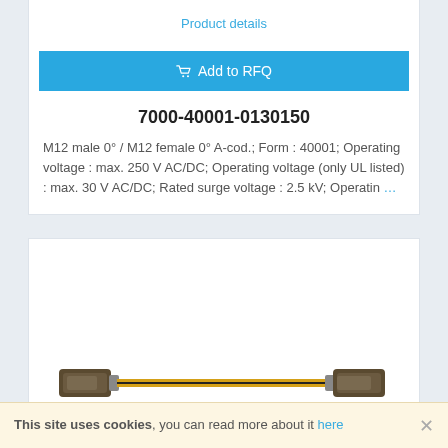Product details
Add to RFQ
7000-40001-0130150
M12 male 0° / M12 female 0° A-cod.; Form : 40001; Operating voltage : max. 250 V AC/DC; Operating voltage (only UL listed) : max. 30 V AC/DC; Rated surge voltage : 2.5 kV; Operatin …
[Figure (photo): M12 cable assembly product photo showing a yellow cable with M12 connectors on both ends]
This site uses cookies, you can read more about it here